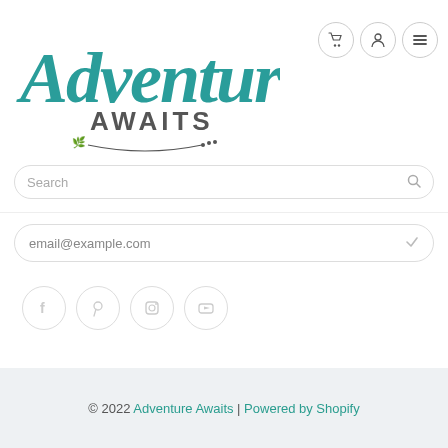[Figure (logo): Adventure Awaits logo in teal cursive script with 'AWAITS' in dark gray and decorative leaf/dot flourish]
[Figure (infographic): Three circular nav icons: shopping cart, user/person, and hamburger menu]
Search
email@example.com
[Figure (infographic): Four social media icons in light gray circles: Facebook, Pinterest, Instagram, YouTube]
© 2022 Adventure Awaits | Powered by Shopify